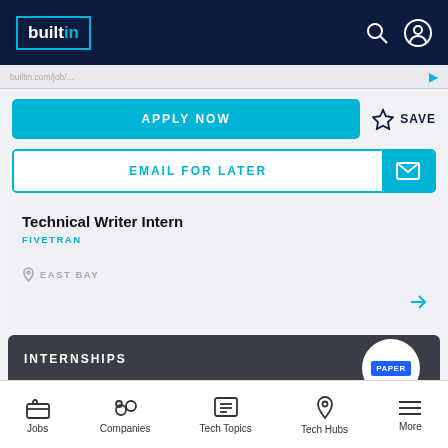builtin — navigation header with search and profile icons
URL bar (partially visible URL)
APPLY NOW
SAVE
EMAIL FOR LATER
Technical Writer Intern
FIVETRAN
EAST BAY
INTERNSHIPS
[Figure (logo): PAPER logo in blue rounded rectangle]
Jobs | Companies | Tech Topics | Tech Hubs | More